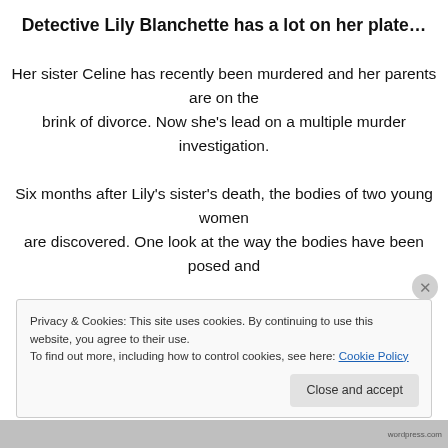Detective Lily Blanchette has a lot on her plate…
Her sister Celine has recently been murdered and her parents are on the brink of divorce. Now she's lead on a multiple murder investigation.

Six months after Lily's sister's death, the bodies of two young women are discovered. One look at the way the bodies have been posed and

Lily knows her sister's killer is back.
Privacy & Cookies: This site uses cookies. By continuing to use this website, you agree to their use.
To find out more, including how to control cookies, see here: Cookie Policy
Close and accept